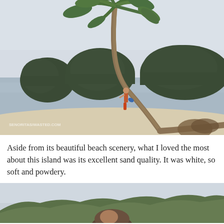[Figure (photo): A person climbing a leaning palm tree on a white sand beach with calm blue-grey water and dramatic rocky island formations in the background under overcast sky. Watermark visible in bottom-left corner.]
Aside from its beautiful beach scenery, what I loved the most about this island was its excellent sand quality. It was white, so soft and powdery.
[Figure (photo): Bottom portion of a photo showing a person's face/head in the foreground with green mountain ridges and hazy sky in the background.]